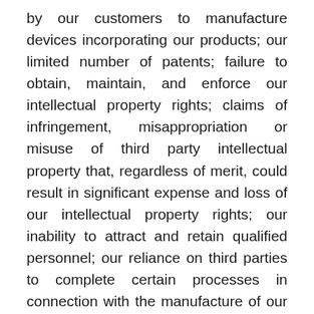by our customers to manufacture devices incorporating our products; our limited number of patents; failure to obtain, maintain, and enforce our intellectual property rights; claims of infringement, misappropriation or misuse of third party intellectual property that, regardless of merit, could result in significant expense and loss of our intellectual property rights; our inability to attract and retain qualified personnel; our reliance on third parties to complete certain processes in connection with the manufacture of our products; product quality and defects; existing or increased competition; our ability to successfully manufacture, market and sell products based on our technologies; our ability to meet the required specifications of customers and achieve qualification of our